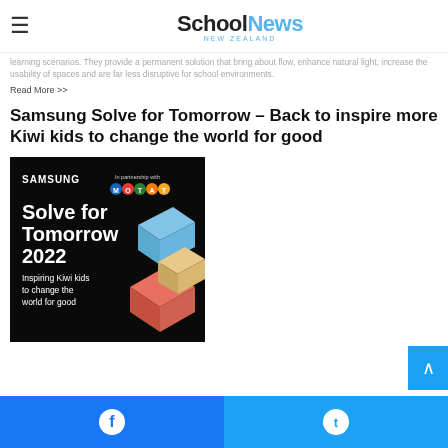SchoolNews NEW ZEALAND
learning scenarios. They provide a permanent solution that bring about flow, enhance natural light, increase the usability of spaces and are far less disruptive for school environments.
Read More >>
Samsung Solve for Tomorrow – Back to inspire more Kiwi kids to change the world for good
[Figure (photo): Samsung Solve for Tomorrow 2022 promotional image with text 'Inspiring Kiwi kids to change the world for good' on a black background with colorful 3D block shapes, in partnership with MOTAT logo.]
Facebook share button | Twitter share button